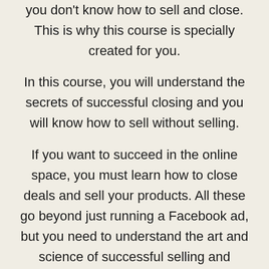you don't know how to sell and close. This is why this course is specially created for you.
In this course, you will understand the secrets of successful closing and you will know how to sell without selling.
If you want to succeed in the online space, you must learn how to close deals and sell your products. All these go beyond just running a Facebook ad, but you need to understand the art and science of successful selling and closing, and this is